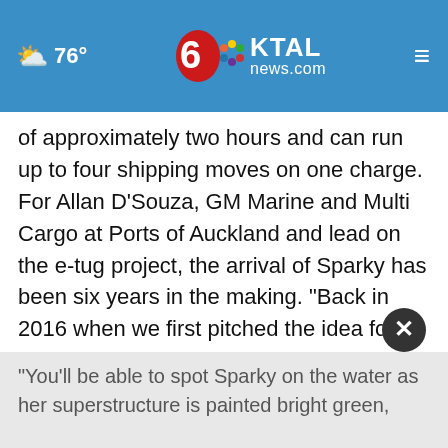76° KTAL news.com
of approximately two hours and can run up to four shipping moves on one charge. For Allan D'Souza, GM Marine and Multi Cargo at Ports of Auckland and lead on the e-tug project, the arrival of Sparky has been six years in the making. "Back in 2016 when we first pitched the idea for a fully electric tug, we were told we were dreaming. To finally welcome her to Tāmaki Makaurau now is incredible."
"You'll be able to spot Sparky on the water as her superstructure is painted bright green,